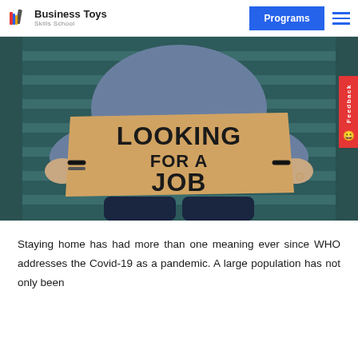Business Toys Skills School — Programs
[Figure (photo): Person sitting on stairs holding a cardboard sign that reads LOOKING FOR A JOB]
Staying home has had more than one meaning ever since WHO addresses the Covid-19 as a pandemic. A large population has not only been